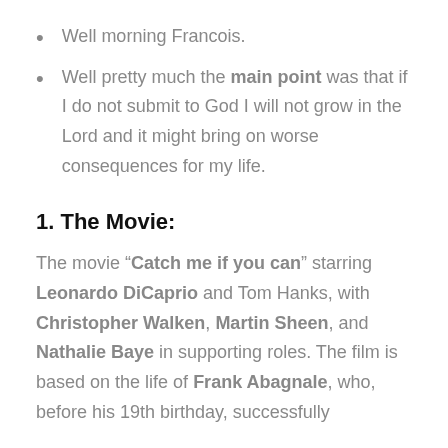Well morning Francois.
Well pretty much the main point was that if I do not submit to God I will not grow in the Lord and it might bring on worse consequences for my life.
1. The Movie:
The movie “Catch me if you can” starring Leonardo DiCaprio and Tom Hanks, with Christopher Walken, Martin Sheen, and Nathalie Baye in supporting roles. The film is based on the life of Frank Abagnale, who, before his 19th birthday, successfully